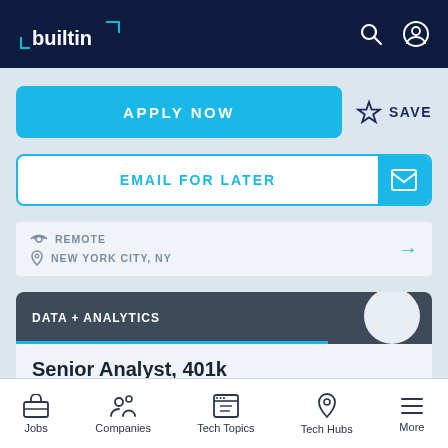builtin
APPLY NOW
SAVE
EMAIL FOR LATER
REMOTE
NEW YORK CITY, NY
DATA + ANALYTICS
Senior Analyst, 401k
JUSTWORKS
Jobs | Companies | Tech Topics | Tech Hubs | More